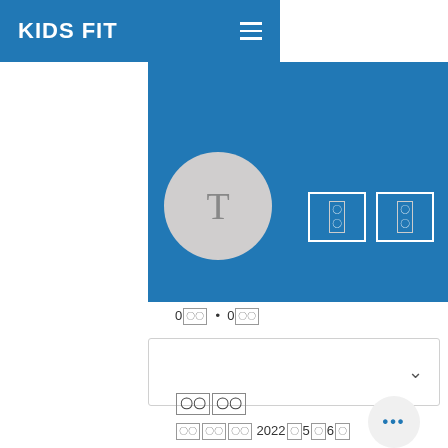KIDS FIT
[Figure (screenshot): Mobile app profile page for 'KIDS FIT' showing a user profile with avatar letter T, username 'Testosterone cypionate melti...', stats showing 0 followers and 0 following (with Japanese characters), action buttons, a dropdown card with chevron, and a post section with title in Japanese characters and date 2022年5月6日, plus a more options button]
Testosterone cypionate melti...
0〇〇 • 0〇〇
〇〇〇〇
〇〇〇〇〇 2022年5月6日